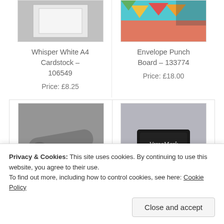[Figure (photo): Whisper White A4 Cardstock product photo – grey/white card on grey background]
Whisper White A4 Cardstock – 106549
Price: £8.25
[Figure (photo): Envelope Punch Board product photo – colourful envelopes and board on teal/pink background]
Envelope Punch Board – 133774
Price: £18.00
[Figure (photo): Heat Tool (UK) product photo – metal heat gun tool on grey background]
Heat Tool (Uk) – 129054
[Figure (photo): Versamark Pad product photo – black VersaMark ink pad on grey background]
Versamark Pad – 102283
Privacy & Cookies: This site uses cookies. By continuing to use this website, you agree to their use.
To find out more, including how to control cookies, see here: Cookie Policy
Close and accept